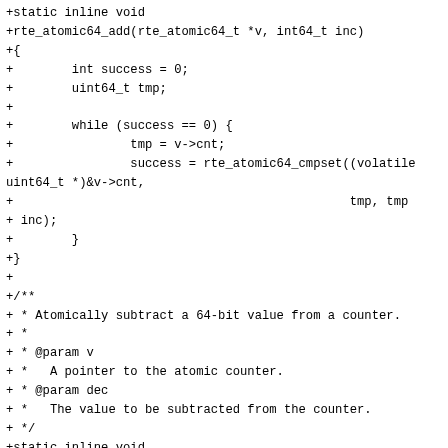+static inline void
+rte_atomic64_add(rte_atomic64_t *v, int64_t inc)
+{
+        int success = 0;
+        uint64_t tmp;
+
+        while (success == 0) {
+                tmp = v->cnt;
+                success = rte_atomic64_cmpset((volatile uint64_t *)&v->cnt,
+                                              tmp, tmp
+ inc);
+        }
+}
+
+/**
+ * Atomically subtract a 64-bit value from a counter.
+ *
+ * @param v
+ *   A pointer to the atomic counter.
+ * @param dec
+ *   The value to be subtracted from the counter.
+ */
+static inline void
+rte_atomic64_sub(rte_atomic64_t *v, int64_t dec)
+{
+        int success = 0;
+        uint64_t tmp;
+
+        while (success == 0) {